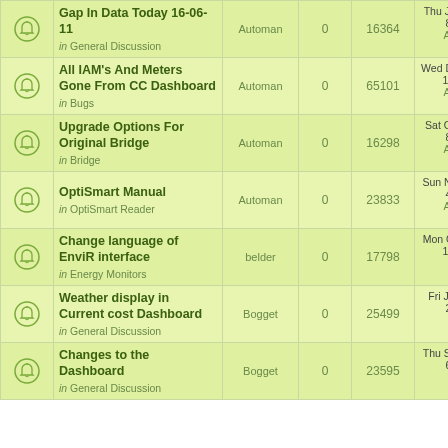|  | Topic | Author | Replies | Views | Last Post |
| --- | --- | --- | --- | --- | --- |
| [icon] | Gap In Data Today 16-06-11
in General Discussion | Automan | 0 | 16364 | Thu Jun 16, 2011 8:31 am
Automan → |
| [icon] | All IAM's And Meters Gone From CC Dashboard
in Bugs | Automan | 0 | 65101 | Wed Dec 04, 2013 11:50 pm
Automan → |
| [icon] | Upgrade Options For Original Bridge
in Bridge | Automan | 0 | 16298 | Sat Oct 22, 2011 8:43 am
Automan → |
| [icon] | OptiSmart Manual
in OptiSmart Reader | Automan | 0 | 23833 | Sun Nov 27, 2011 4:26 pm
Automan → |
| [icon] | Change language of EnviR interface
in Energy Monitors | belder | 0 | 17798 | Mon Oct 24, 2011 11:56 am
belder → |
| [icon] | Weather display in Current cost Dashboard
in General Discussion | Bogget | 0 | 25499 | Fri Jul 27, 2012 2:47 pm
Bogget → |
| [icon] | Changes to the Dashboard
in General Discussion | Bogget | 0 | 23595 | Thu Sep 20, 2012 6:02 pm
Bogget → |